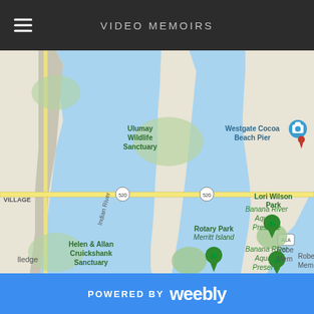VIDEO MEMOIRS
[Figure (map): Google Maps view of Merritt Island, Florida area showing Indian River, Banana River, Cocoa Beach, Ulumay Wildlife Sanctuary, Rotary Park Merritt Island, Lori Wilson Park, Westgate Cocoa Beach Pier, Helen & Allan Cruickshank Sanctuary, Banana River Aquatic Preserve, roads including Route 520, Route 1, and A1A]
POWERED BY weebly